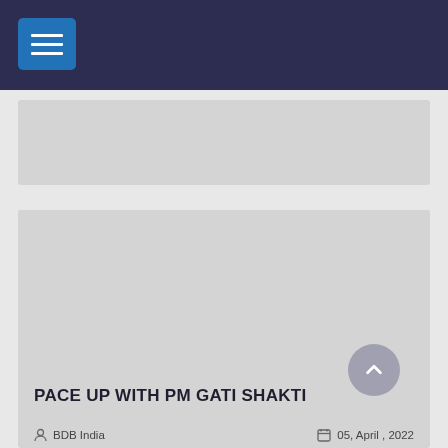Navigation bar with hamburger menu
[Figure (other): Advertisement banner placeholder (grey rectangle)]
[Figure (photo): Article image placeholder (large grey rectangle)]
PACE UP WITH PM GATI SHAKTI
BDB India   05, April , 2022